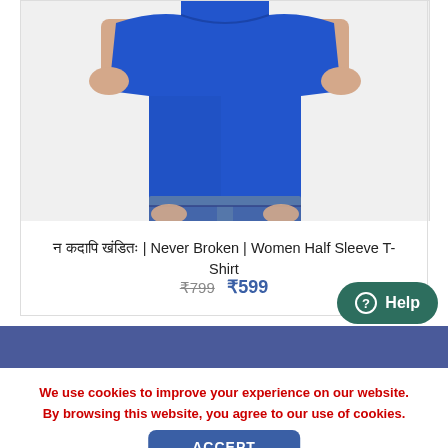[Figure (photo): Woman wearing a royal blue half-sleeve t-shirt, cropped from neck to waist, hands in pockets of jeans]
न कदापि खंडितः | Never Broken | Women Half Sleeve T-Shirt
₹799 ₹599
Help
We use cookies to improve your experience on our website. By browsing this website, you agree to our use of cookies.
ACCEPT